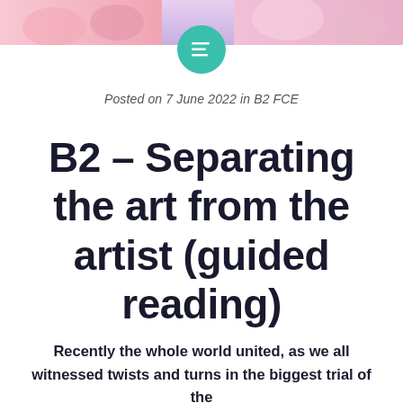[Figure (photo): Colorful banner image at top of page showing people, partially cut off]
Posted on 7 June 2022 in B2 FCE
B2 – Separating the art from the artist (guided reading)
Recently the whole world united, as we all witnessed twists and turns in the biggest trial of the